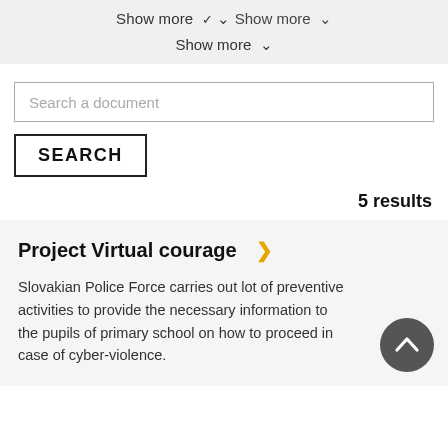Show more ▾
Search a document
SEARCH
5 results
Project Virtual courage ›
Slovakian Police Force carries out lot of preventive activities to provide the necessary information to the pupils of primary school on how to proceed in case of cyber-violence.